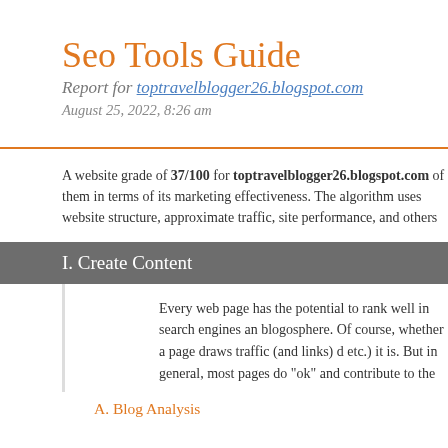Seo Tools Guide
Report for toptravelblogger26.blogspot.com
August 25, 2022, 8:26 am
A website grade of 37/100 for toptravelblogger26.blogspot.com of them in terms of its marketing effectiveness. The algorithm uses website structure, approximate traffic, site performance, and others
I. Create Content
Every web page has the potential to rank well in search engines an blogosphere. Of course, whether a page draws traffic (and links) d etc.) it is. But in general, most pages do "ok" and contribute to the
A. Blog Analysis